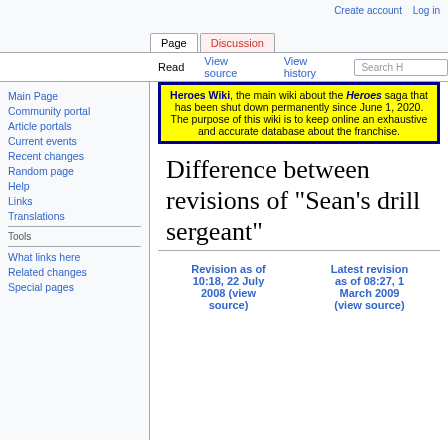Create account  Log in
Page  Discussion  Read  View source  View history  Search H
Heroes Wiki , the main wiki about the Heroes saga that has been shut down permanently since June 1, 2020. The purpose of this wiki is to keep online an exhaustive and accurate database about the franchise.
Difference between revisions of "Sean's drill sergeant"
Main Page
Community portal
Article portals
Current events
Recent changes
Random page
Help
Links
Translations
Tools
What links here
Related changes
Special pages
| Revision as of 10:18, 22 July 2008 (view source) | Latest revision as of 08:27, 1 March 2009 (view source) |
| --- | --- |